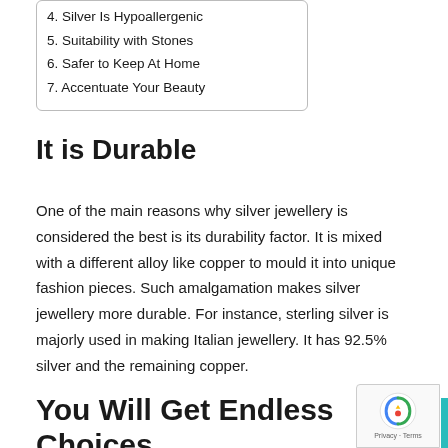4. Silver Is Hypoallergenic
5. Suitability with Stones
6. Safer to Keep At Home
7. Accentuate Your Beauty
It is Durable
One of the main reasons why silver jewellery is considered the best is its durability factor. It is mixed with a different alloy like copper to mould it into unique fashion pieces. Such amalgamation makes silver jewellery more durable. For instance, sterling silver is majorly used in making Italian jewellery. It has 92.5% silver and the remaining copper.
You Will Get Endless Choices